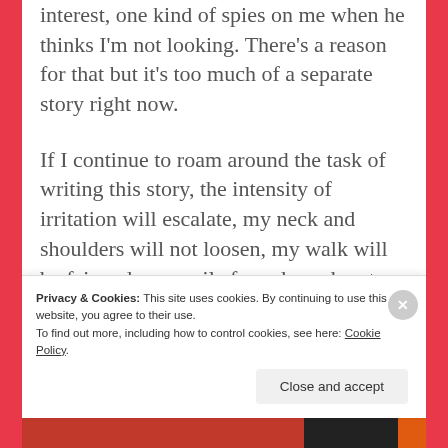interest, one kind of spies on me when he thinks I'm not looking. There's a reason for that but it's too much of a separate story right now.
If I continue to roam around the task of writing this story, the intensity of irritation will escalate, my neck and shoulders will not loosen, my walk will be feigned, my smile forced, my heart longing for padding, my ego striving for
Privacy & Cookies: This site uses cookies. By continuing to use this website, you agree to their use.
To find out more, including how to control cookies, see here: Cookie Policy